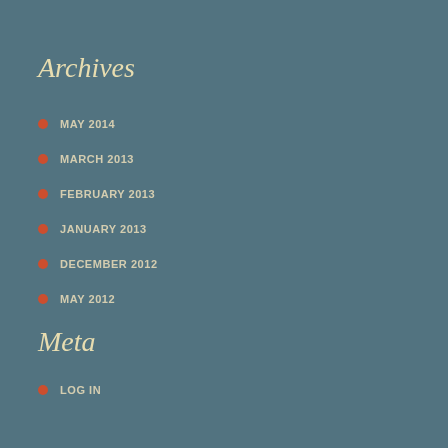Archives
MAY 2014
MARCH 2013
FEBRUARY 2013
JANUARY 2013
DECEMBER 2012
MAY 2012
Meta
LOG IN